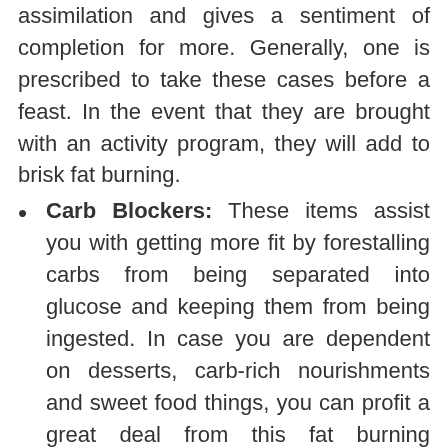assimilation and gives a sentiment of completion for more. Generally, one is prescribed to take these cases before a feast. In the event that they are brought with an activity program, they will add to brisk fat burning.
Carb Blockers: These items assist you with getting more fit by forestalling carbs from being separated into glucose and keeping them from being ingested. In case you are dependent on desserts, carb-rich nourishments and sweet food things, you can profit a great deal from this fat burning supplement. Carb blockers work such that they are not legitimately consumed by the body however just squares the breakdown and assimilation of carbs taken in.
Fat terminators: Yet another famous fat burning supplement, fat killers contain caffeine, l-carnatine and chromium picolonate. In case you are on an